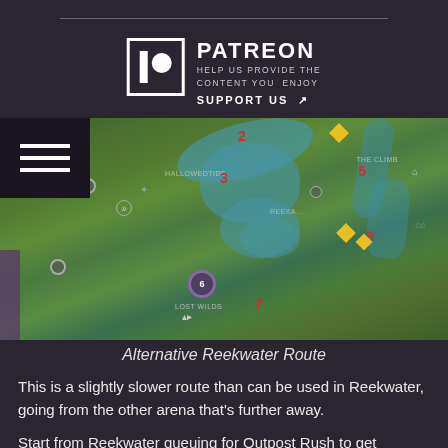[Figure (logo): Patreon logo with icon and text reading PATREON, HELP US PROVIDE THE CONTENT YOU ENJOY, SUPPORT US with external link icon]
[Figure (map): In-game map screenshot showing Alternative Reekwater Route with numbered location markers 2, 3, 4, 5, 6, 7 and diamond-shaped yellow icons. Shows terrain with water bodies, forests, and location labels including Hallowedtide and Lost Wilds.]
Alternative Reekwater Route
This is a slightly slower route than can be used in Reekwater, going from the other arena that's further away.
Start from Reekwater queuing for Outpost Rush to get